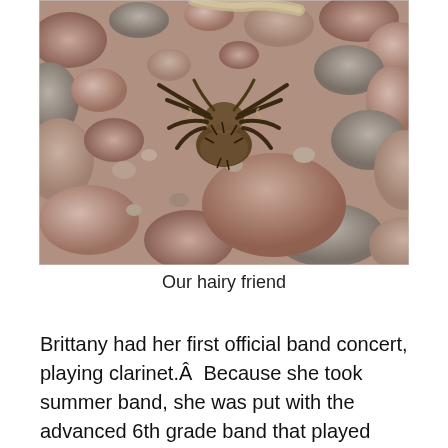[Figure (photo): A tarantula spider on rocky gravel terrain with pink and grey stones]
Our hairy friend
Brittany had her first official band concert, playing clarinet.Â  Because she took summer band, she was put with the advanced 6th grade band that played with the 7th and 8th graders, so that was